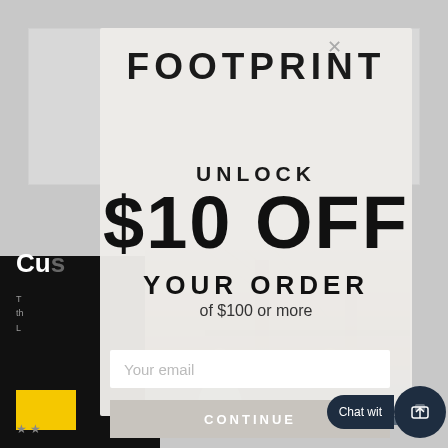[Figure (screenshot): E-commerce modal popup overlay for Footprint brand showing a $10 off discount offer. Modal has a light gray background with brand logo at top, large bold text showing UNLOCK $10 OFF YOUR ORDER, subtitle 'of $100 or more', an email input field, and a CONTINUE button. Background shows a bridge photo with two people. A chat widget is visible in bottom right.]
FOOTPRINT
UNLOCK
$10 OFF
YOUR ORDER
of $100 or more
Your email
CONTINUE
Chat wit